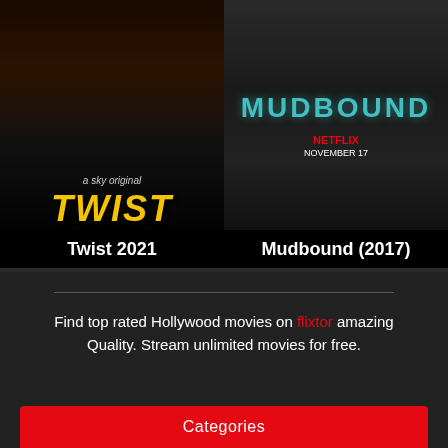[Figure (photo): Movie poster for Twist 2021 - dark background with yellow stylized TWIST text and 'a sky original' subtitle]
Twist 2021
[Figure (photo): Movie poster for Mudbound (2017) - dark toned poster with MUDBOUND title in teal, Netflix branding, November 17 release date]
Mudbound (2017)
Find top rated Hollywood movies on flixtor amazing Quality. Stream unlimited movies for free.
Categories